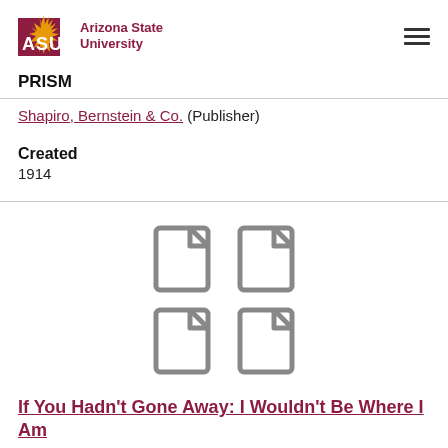[Figure (logo): Arizona State University logo with ASU text and sunburst icon]
PRISM
Shapiro, Bernstein & Co. (Publisher)
Created
1914
[Figure (illustration): Four document/file icons arranged in a 2x2 grid]
If You Hadn't Gone Away: I Wouldn't Be Where I Am
Contributors
Brown, Lew (Composer, Lyricist) /